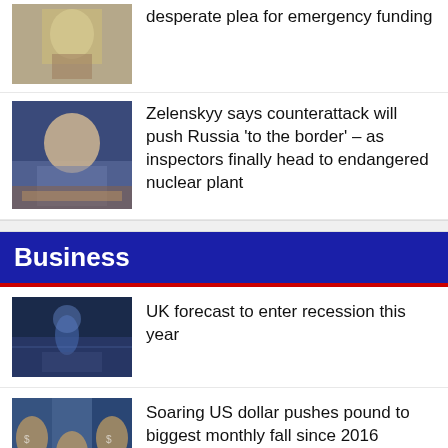[Figure (photo): Soldier figure, partial view at top of page]
desperate plea for emergency funding
[Figure (photo): Zelenskyy speaking, Ukrainian flags in background]
Zelenskyy says counterattack will push Russia 'to the border' – as inspectors finally head to endangered nuclear plant
Business
[Figure (photo): People with umbrellas on rainy street]
UK forecast to enter recession this year
[Figure (photo): Currency notes, US dollar and pound sterling]
Soaring US dollar pushes pound to biggest monthly fall since 2016
[Figure (photo): Partial image at bottom]
Real household disposable incomes to fall by